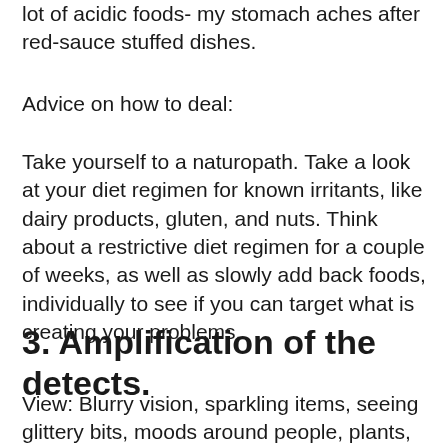lot of acidic foods- my stomach aches after red-sauce stuffed dishes.
Advice on how to deal:
Take yourself to a naturopath. Take a look at your diet regimen for known irritants, like dairy products, gluten, and nuts. Think about a restrictive diet regimen for a couple of weeks, as well as slowly add back foods, individually to see if you can target what is creating your problems.
3. Amplification of the detects.
View: Blurry vision, sparkling items, seeing glittery bits, moods around people, plants, pets, and objects. Some record seeing